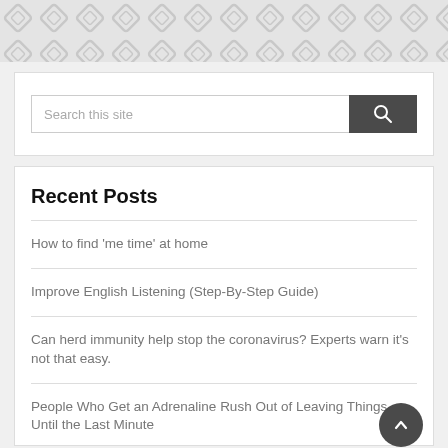[Figure (other): Decorative geometric/chain-link pattern header background in light gray]
Search this site
Recent Posts
How to find ‘me time’ at home
Improve English Listening (Step-By-Step Guide)
Can herd immunity help stop the coronavirus? Experts warn it’s not that easy.
People Who Get an Adrenaline Rush Out of Leaving Things Until the Last Minute